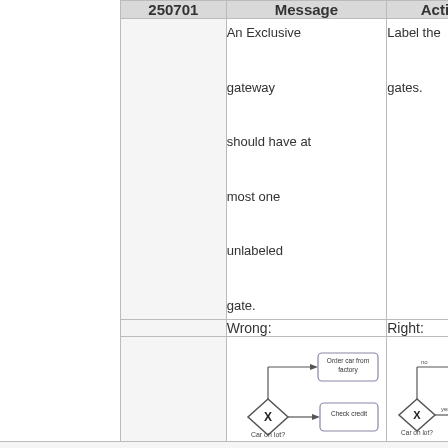| 250701 | Message | Action |
| --- | --- | --- |
|  | An Exclusive gateway should have at most one unlabeled gate. | Label the gates. |
|  | Wrong: | Right: |
|  | [diagram: wrong flowchart] | [diagram: right flowchart] |
[Figure (flowchart): Wrong: Exclusive gateway labeled 'Car on lot?' with two unlabeled outgoing paths to 'Order car from factory' and 'Check credit' boxes.]
[Figure (flowchart): Right: Exclusive gateway labeled 'Car on lot?' with labeled outgoing paths (no, yes) to 'Order car from factory' and 'Check credit' boxes.]